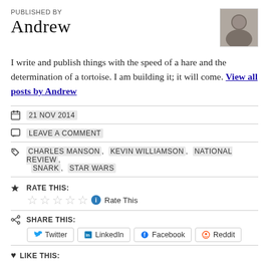PUBLISHED BY
Andrew
[Figure (photo): Small grayscale portrait photo of a man]
I write and publish things with the speed of a hare and the determination of a tortoise. I am building it; it will come. View all posts by Andrew
21 NOV 2014
LEAVE A COMMENT
CHARLES MANSON, KEVIN WILLIAMSON, NATIONAL REVIEW, SNARK, STAR WARS
RATE THIS:
Rate This
SHARE THIS:
Twitter  LinkedIn  Facebook  Reddit
LIKE THIS: